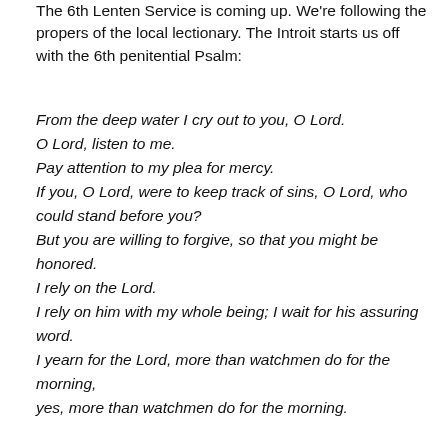The 6th Lenten Service is coming up. We're following the propers of the local lectionary. The Introit starts us off with the 6th penitential Psalm:
From the deep water I cry out to you, O Lord.
O Lord, listen to me.
Pay attention to my plea for mercy.
If you, O Lord, were to keep track of sins, O Lord, who could stand before you?
But you are willing to forgive, so that you might be honored.
I rely on the Lord.
I rely on him with my whole being; I wait for his assuring word.
I yearn for the Lord, more than watchmen do for the morning,
yes, more than watchmen do for the morning.